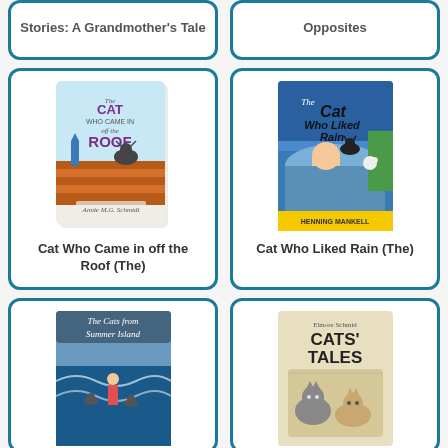Stories: A Grandmother's Tale
Opposites
[Figure (illustration): Book cover: The Cat Who Came in off the Roof]
Cat Who Came in off the Roof (The)
[Figure (illustration): Book cover: The Cat Who Liked Rain by Henning Mankell]
Cat Who Liked Rain (The)
[Figure (illustration): Book cover: The Cats from Summer Island]
[Figure (illustration): Book cover: Cats' Tales by Elmore Schmid]